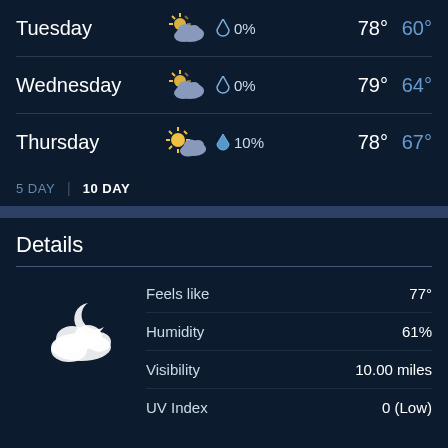| Day | Icon | Precip | High | Low |
| --- | --- | --- | --- | --- |
| Tuesday | partly cloudy | 0% | 78° | 60° |
| Wednesday | partly cloudy | 0% | 79° | 64° |
| Thursday | partly cloudy/sunny | 10% | 78° | 67° |
5 DAY | 10 DAY
Details
| Detail | Value |
| --- | --- |
| Feels like | 77° |
| Humidity | 61% |
| Visibility | 10.00 miles |
| UV Index | 0 (Low) |
Tonight - Mostly clear. Winds variable at 4 to 10 mph (6.4 to 16.1 kph). The overnight low will be 60 °F (15.6 °C).
Today - Partly cloudy with a high of 78 °F (25.6 °C). Winds variable at 6 to 13 mph (9.7 to 20.9 kph).